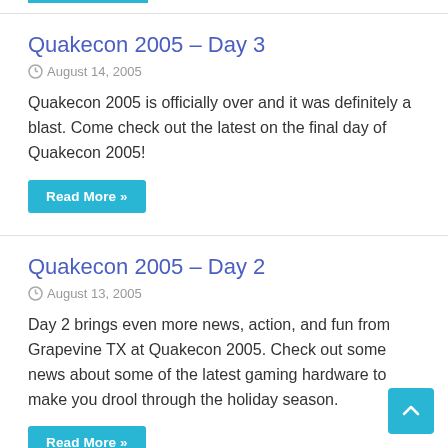Quakecon 2005 – Day 3
August 14, 2005
Quakecon 2005 is officially over and it was definitely a blast. Come check out the latest on the final day of Quakecon 2005!
Read More »
Quakecon 2005 – Day 2
August 13, 2005
Day 2 brings even more news, action, and fun from Grapevine TX at Quakecon 2005. Check out some news about some of the latest gaming hardware to make you drool through the holiday season.
Read More »